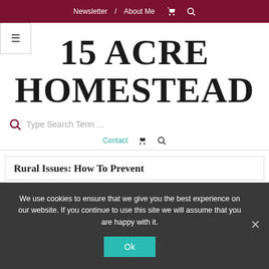Newsletter / About Me [cart icon] [search icon]
15 ACRE HOMESTEAD
Type Search Term ...
Contact [cart icon] [search icon]
Rural Issues: How To Prevent
We use cookies to ensure that we give you the best experience on our website. If you continue to use this site we will assume that you are happy with it. Ok